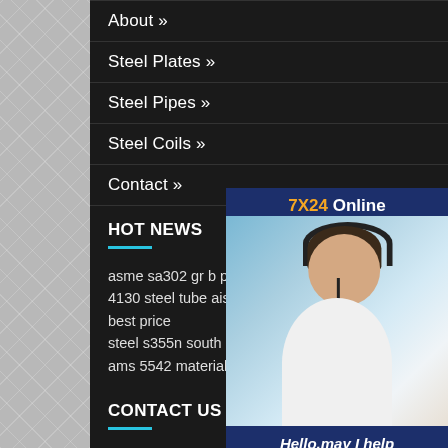About »
Steel Plates »
Steel Pipes »
Steel Coils »
Contact »
HOT NEWS
asme sa302 gr b pressure vessel
4130 steel tube aisi 4130 alloy steel pipe with best price
steel s355n south korea machining
ams 5542 material steel x75strip
CONTACT US
[Figure (illustration): Customer service representative with headset, 7X24 Online chat widget with 'Hello, may I help you?' message and 'Get Latest Price' button]